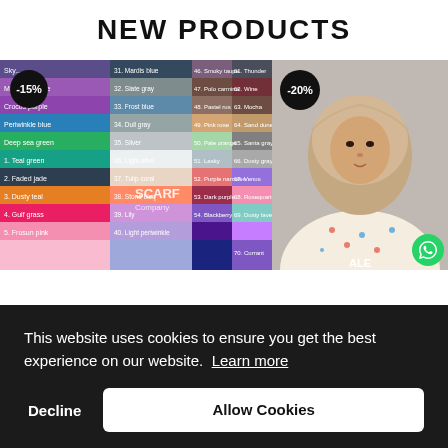NEW PRODUCTS
[Figure (photo): Fabric color swatches chart showing many colors labeled with numbers and color names, with a -15% discount badge]
[Figure (photo): Woman wearing hijab scarf, with a -20% discount badge]
This website uses cookies to ensure you get the best experience on our website. Learn more
Decline
Allow Cookies